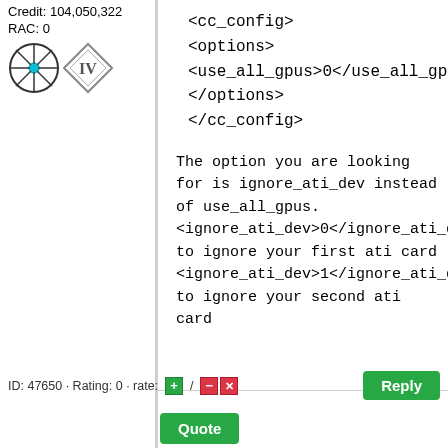Credit: 104,050,322
RAC: 0
[Figure (illustration): Two badge icons: a star/wheel badge and a diamond-shaped badge with 'IV']
<cc_config>
<options>
<use_all_gpus>0</use_all_gpus>
</options>
</cc_config>
The option you are looking for is ignore_ati_dev instead of use_all_gpus.
<ignore_ati_dev>0</ignore_ati_dev> to ignore your first ati card
<ignore_ati_dev>1</ignore_ati_dev> to ignore your second ati card
ID: 47650 · Rating: 0 · rate: [+] / [-] [x]
Reply
Quote